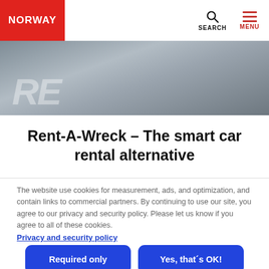NORWAY | SEARCH | MENU
[Figure (photo): Aerial or close-up view of a road surface with white painted markings, gray asphalt texture]
Rent-A-Wreck – The smart car rental alternative
The website use cookies for measurement, ads, and optimization, and contain links to commercial partners. By continuing to use our site, you agree to our privacy and security policy. Please let us know if you agree to all of these cookies.
Privacy and security policy
Required only
Yes, that´s OK!
Edit settings